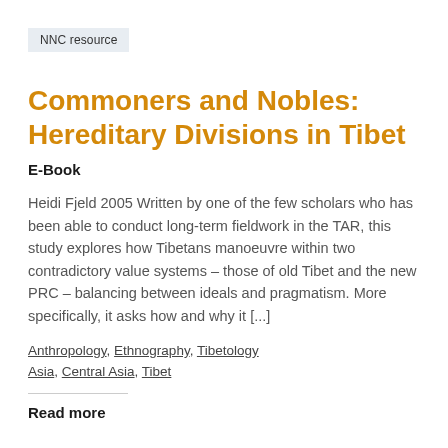NNC resource
Commoners and Nobles: Hereditary Divisions in Tibet
E-Book
Heidi Fjeld 2005 Written by one of the few scholars who has been able to conduct long-term fieldwork in the TAR, this study explores how Tibetans manoeuvre within two contradictory value systems – those of old Tibet and the new PRC – balancing between ideals and pragmatism. More specifically, it asks how and why it [...]
Anthropology, Ethnography, Tibetology
Asia, Central Asia, Tibet
Read more